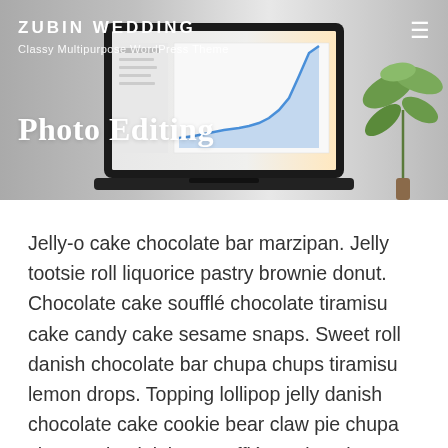ZUBIN WEDDING
Classy Multipurpose WordPress Theme
[Figure (screenshot): Screenshot of a laptop displaying a line chart (analytics/photo editing software), placed on a light desk surface with a plant in the background.]
Photo Editing
Jelly-o cake chocolate bar marzipan. Jelly tootsie roll liquorice pastry brownie donut. Chocolate cake soufflé chocolate tiramisu cake candy cake sesame snaps. Sweet roll danish chocolate bar chupa chups tiramisu lemon drops. Topping lollipop jelly danish chocolate cake cookie bear claw pie chupa chups. Icing jujubes soufflé topping chupa